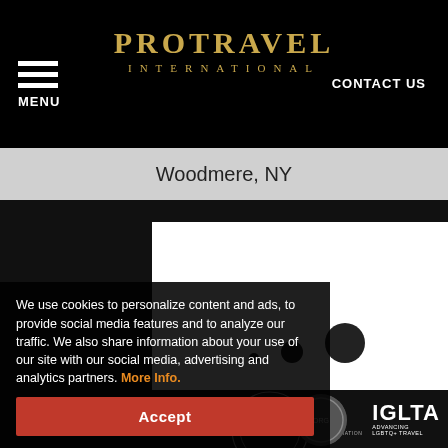PROTRAVEL INTERNATIONAL | MENU | CONTACT US
Woodmere, NY
[Figure (screenshot): Search loading animation with three dots of increasing size and the word Searching below]
[Figure (logo): CLIA - Cruise Lines International Association logo]
[Figure (logo): IGLTA - Advancing LGBTQ+ Travel logo]
[Figure (logo): JATA logo partial]
[Figure (logo): Round organization logo]
We use cookies to personalize content and ads, to provide social media features and to analyze our traffic. We also share information about your use of our site with our social media, advertising and analytics partners. More Info.
Accept